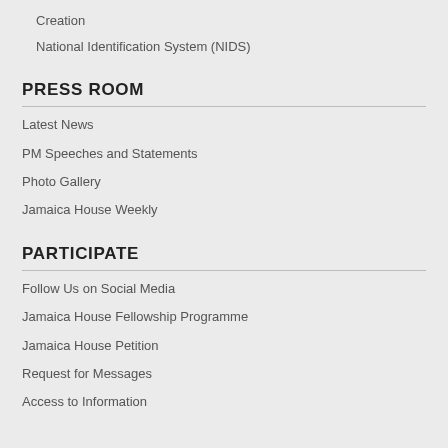Creation
National Identification System (NIDS)
PRESS ROOM
Latest News
PM Speeches and Statements
Photo Gallery
Jamaica House Weekly
PARTICIPATE
Follow Us on Social Media
Jamaica House Fellowship Programme
Jamaica House Petition
Request for Messages
Access to Information